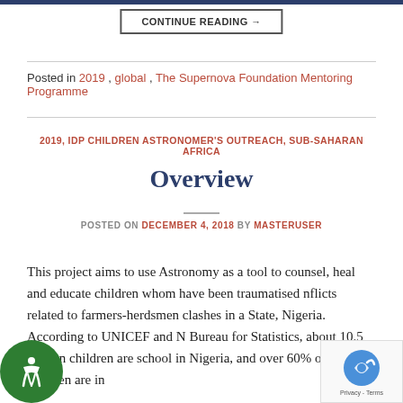CONTINUE READING →
Posted in 2019, global, The Supernova Foundation Mentoring Programme
2019, IDP CHILDREN ASTRONOMER'S OUTREACH, SUB-SAHARAN AFRICA
Overview
POSTED ON DECEMBER 4, 2018 BY MASTERUSER
This project aims to use Astronomy as a tool to counsel, heal and educate children whom have been traumatised conflicts related to farmers-herdsmen clashes in a State, Nigeria. According to UNICEF and N Bureau for Statistics, about 10.5 million children are school in Nigeria, and over 60% of these children are in